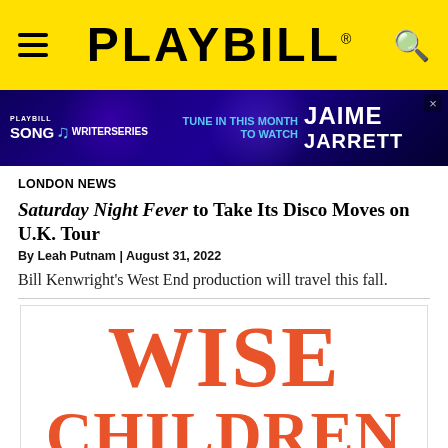PLAYBILL
[Figure (screenshot): Playbill Song & Writer Series advertisement banner with purple/blue background. Text reads: TUNE IN THIS MONTH TO WATCH JAIME with partial last name visible.]
LONDON NEWS
Saturday Night Fever to Take Its Disco Moves on U.K. Tour
By Leah Putnam | August 31, 2022
Bill Kenwright's West End production will travel this fall.
[Figure (photo): Wise Children theatrical show logo/poster art with large orange/red text reading WISE CHILDREN on white background]